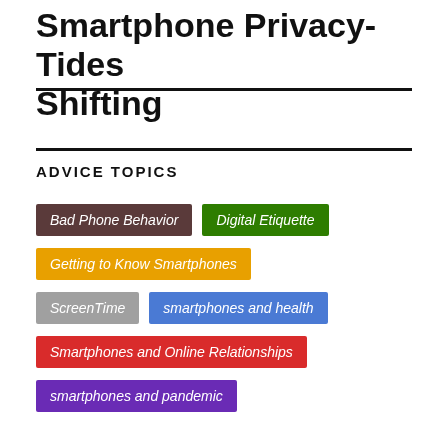Smartphone Privacy- Tides Shifting
ADVICE TOPICS
Bad Phone Behavior
Digital Etiquette
Getting to Know Smartphones
ScreenTime
smartphones and health
Smartphones and Online Relationships
smartphones and pandemic